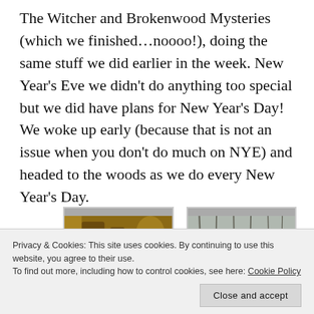The Witcher and Brokenwood Mysteries (which we finished…noooo!), doing the same stuff we did earlier in the week. New Year's Eve we didn't do anything too special but we did have plans for New Year's Day! We woke up early (because that is not an issue when you don't do much on NYE) and headed to the woods as we do every New Year's Day.
[Figure (photo): Close-up photo of forest floor with leaves, bark, and natural debris]
[Figure (photo): Photo of bare winter trees in woods with yellow rope or tape visible]
Privacy & Cookies: This site uses cookies. By continuing to use this website, you agree to their use.
To find out more, including how to control cookies, see here: Cookie Policy
Close and accept